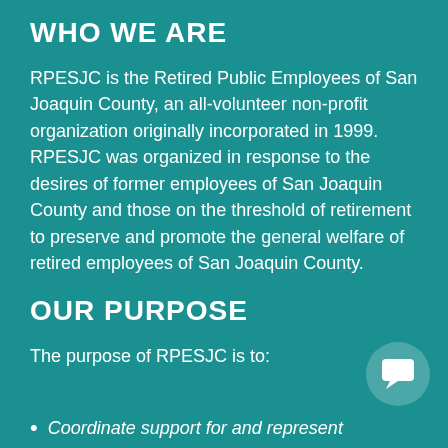WHO WE ARE
RPESJC is the Retired Public Employees of San Joaquin County, an all-volunteer non-profit organization originally incorporated in 1999. RPESJC was organized in response to the desires of former employees of San Joaquin County and those on the threshold of retirement to preserve and promote the general welfare of retired employees of San Joaquin County.
OUR PURPOSE
The purpose of RPESJC is to:
Coordinate support for and represent